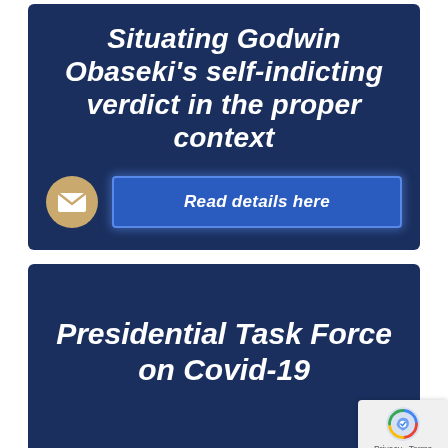[Figure (infographic): Dark navy blue card with bold white italic title 'Situating Godwin Obaseki’s self-indicting verdict in the proper context', an email icon circle, and a blue button labeled 'Read details here']
[Figure (infographic): Dark navy blue card with bold white italic text 'Presidential Task Force on Covid-19', partially cut off on the right with a reCAPTCHA badge overlay]